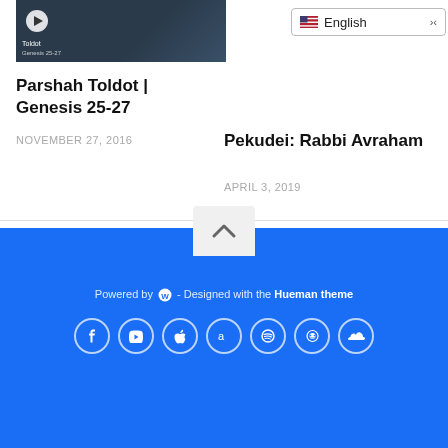[Figure (screenshot): Video thumbnail showing a man in a dark suit, with 'Toldot' label overlay and play button]
English (language selector dropdown)
Parshah Toldot | Genesis 25-27
NOVEMBER 27, 2016
Pekudei: Rabbi Avraham
APRIL 3, 2019
Powered by WordPress - Designed with the Hueman theme. Social icons: Facebook, YouTube, Apple, Amazon, Spotify, Reddit, SoundCloud